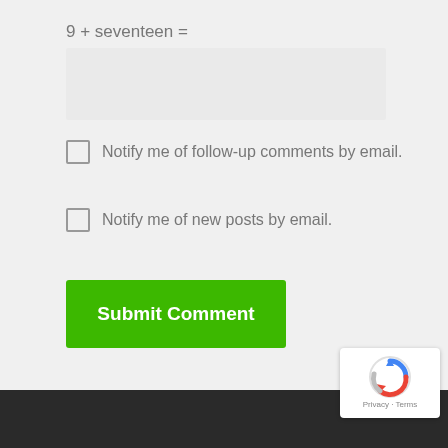9 + seventeen =
Notify me of follow-up comments by email.
Notify me of new posts by email.
Submit Comment
[Figure (logo): reCAPTCHA badge with arrow icon, Privacy and Terms links]